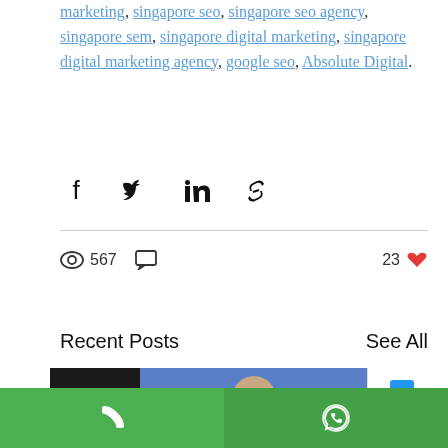marketing, singapore seo, singapore seo agency, singapore sem, singapore digital marketing, singapore digital marketing agency, google seo, Absolute Digital.
[Figure (other): Social share icons: Facebook, Twitter, LinkedIn, link/chain icon]
567 views, 0 comments, 23 likes
Recent Posts
See All
[Figure (photo): Three thumbnail images for recent posts: a dark image with red line, a person in navy sweater holding a laptop against blue background, and a phone/device image]
[Figure (other): Bottom green bar with phone icon (left) and WhatsApp icon (right)]